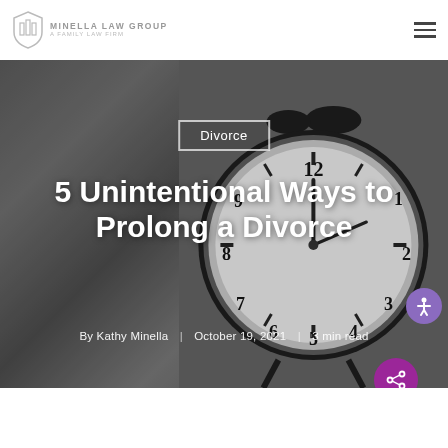Minella Law Group — A Family Law Firm
[Figure (photo): Hero image of an antique alarm clock on a wooden surface with a muted gray background. Overlaid text shows a blog post title.]
Divorce
5 Unintentional Ways to Prolong a Divorce
By Kathy Minella | October 19, 2021 | 3 min read